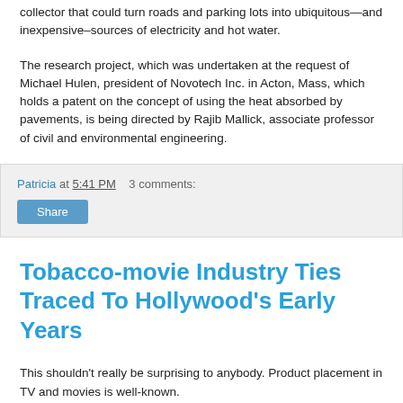collector that could turn roads and parking lots into ubiquitous—and inexpensive–sources of electricity and hot water.
The research project, which was undertaken at the request of Michael Hulen, president of Novotech Inc. in Acton, Mass, which holds a patent on the concept of using the heat absorbed by pavements, is being directed by Rajib Mallick, associate professor of civil and environmental engineering.
Patricia at 5:41 PM   3 comments:
Share
Tobacco-movie Industry Ties Traced To Hollywood's Early Years
This shouldn't really be surprising to anybody. Product placement in TV and movies is well-known.